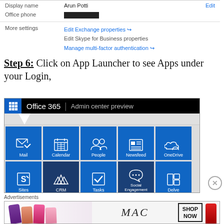| Display name | Arun Potti | Edit |
| Office phone | [redacted] |  |
| More settings | Edit Exchange properties ↗
Edit Skype for Business properties
Manage multi-factor authentication ↗ |  |
Step 6: Click on App Launcher to see Apps under your Login,
[Figure (screenshot): Office 365 Admin center preview screenshot showing app launcher tiles: Mail, Calendar, People, Newsfeed, OneDrive (top row); Sites, CRM, Tasks, Social Engagement, Delve (bottom row)]
Advertisements
[Figure (photo): MAC Cosmetics advertisement banner showing lipsticks and SHOP NOW text]